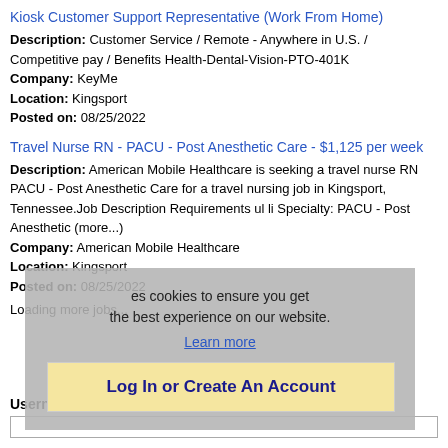Kiosk Customer Support Representative (Work From Home)
Description: Customer Service / Remote - Anywhere in U.S. / Competitive pay / Benefits Health-Dental-Vision-PTO-401K
Company: KeyMe
Location: Kingsport
Posted on: 08/25/2022
Travel Nurse RN - PACU - Post Anesthetic Care - $1,125 per week
Description: American Mobile Healthcare is seeking a travel nurse RN PACU - Post Anesthetic Care for a travel nursing job in Kingsport, Tennessee.Job Description Requirements ul li Specialty: PACU - Post Anesthetic (more...)
Company: American Mobile Healthcare
Location: Kingsport
Posted on: 08/25/2022
Loading more jobs...
[Figure (screenshot): Cookie consent overlay with text 'es cookies to ensure you get the best experience on our website.' and a 'Learn more' link, plus a 'Log In or Create An Account' button in a yellow box]
Username:
(username input field)